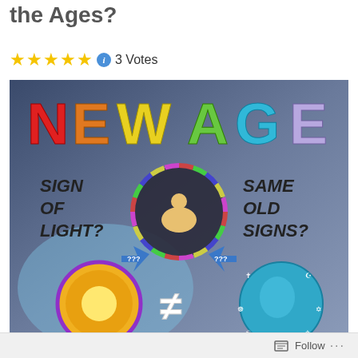the Ages?
★★★★★ ℹ 3 Votes
[Figure (infographic): New Age infographic showing 'NEW AGE' in large colorful letters at top. Below left: 'SIGN OF LIGHT?' text in bold italic with a circular image of religious figures. Center: a meditating figure in lotus position surrounded by a circle of tarot/spiritual cards. Right: 'SAME OLD SIGNS?' text in bold italic with a circular image of a head with religious symbols. Between left and right at bottom: a not-equal sign (≠). Blue arrows point from center to left and right with '???' labels.]
Follow ...